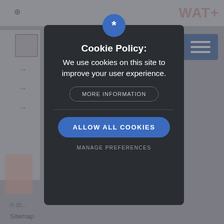[Figure (screenshot): Background of a blurred/dimmed website page with top navigation bar, side navigation panel with arrows, hamburger menu icon in blue, a figure/statue image at bottom left, footer text '© 20...' and 'Sitemap', and 'WAT+' text logo at top right.]
Cookie Policy:
We use cookies on this site to improve your user experience.
MORE INFORMATION
ALLOW ALL COOKIES
MANAGE PREFERENCES